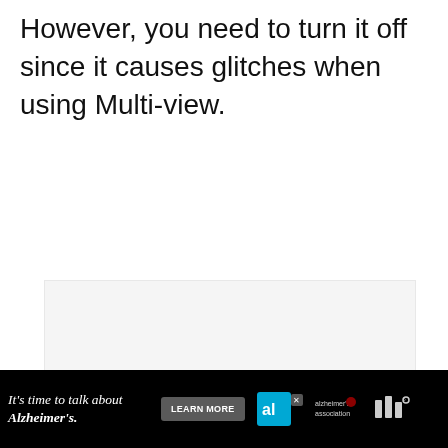However, you need to turn it off since it causes glitches when using Multi-view.
[Figure (screenshot): Embedded image/screenshot placeholder with gray background, showing dots indicator in the center and social interaction buttons (like heart button, count 17, share button) on the right side, and a 'What's Next' card overlay showing '7 Steps To Watch Apple...']
[Figure (other): Advertisement banner: 'It's time to talk about Alzheimer's.' with LEARN MORE button, Alzheimer's association logo, and another logo on black background.]